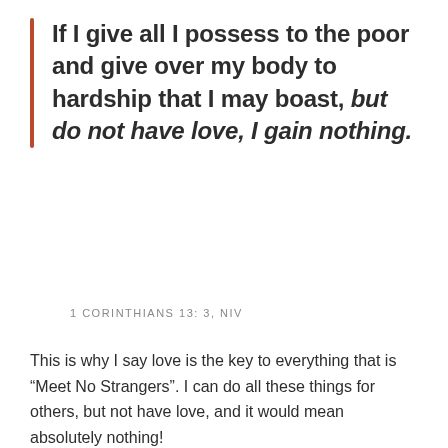If I give all I possess to the poor and give over my body to hardship that I may boast, but do not have love, I gain nothing.
1 CORINTHIANS 13: 3, NIV
This is why I say love is the key to everything that is “Meet No Strangers”. I can do all these things for others, but not have love, and it would mean absolutely nothing!